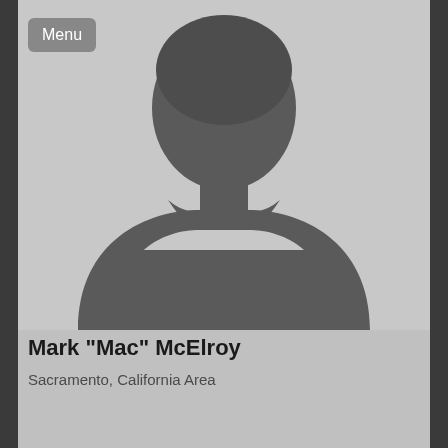[Figure (photo): Default/placeholder silhouette profile photo of a person's head and shoulders on a gray background]
Mark "Mac" McElroy
Sacramento, California Area